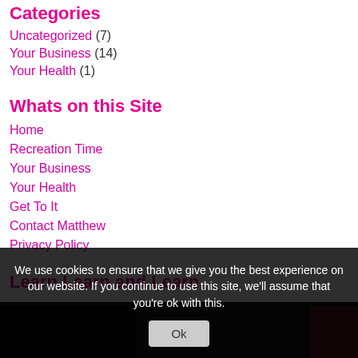Categories
Uncategorized (7)
Your Business (14)
Your Health (1)
Whats on this Site
Home
Recreation Time
Your Business
Your Health
Get To It
Contact Matthew
Privacy Policy
Learn Learn and Learn
We use cookies to ensure that we give you the best experience on our website. If you continue to use this site, we'll assume that you're ok with this.